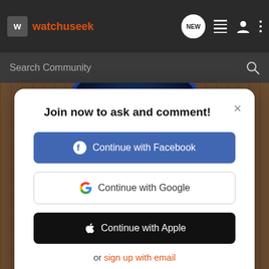watchuseek — navigation bar with logo, NEW bubble, list icon, user icon, menu dots
Search Community
[Figure (screenshot): Background photo of a watch face with blue bezel, on wood grain surface]
Join now to ask and comment!
Continue with Facebook
Continue with Google
Continue with Apple
or sign up with email